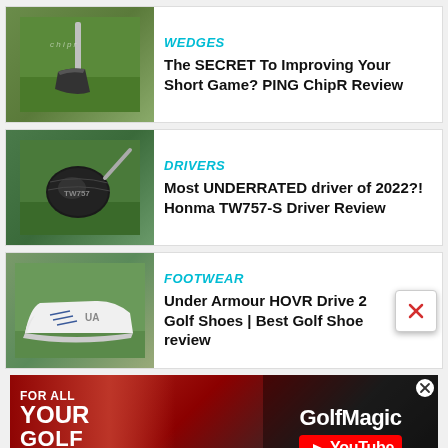[Figure (photo): Golf wedge club (PING ChipR) on a green grass background]
WEDGES
The SECRET To Improving Your Short Game? PING ChipR Review
[Figure (photo): Golf driver club head (Honma TW757-S) on green grass background]
DRIVERS
Most UNDERRATED driver of 2022?! Honma TW757-S Driver Review
[Figure (photo): White Under Armour HOVR Drive 2 golf shoes on grass background]
FOOTWEAR
Under Armour HOVR Drive 2 Golf Shoes | Best Golf Shoe review
[Figure (advertisement): GolfMagic YouTube advertisement banner with red background. Text: FOR ALL YOUR GOLF NEEDS on left, GolfMagic YouTube logo on right.]